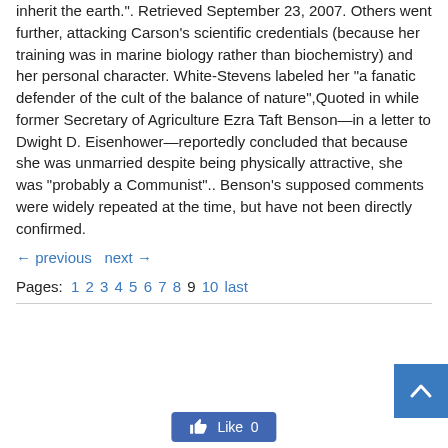inherit the earth.". Retrieved September 23, 2007. Others went further, attacking Carson's scientific credentials (because her training was in marine biology rather than biochemistry) and her personal character. White-Stevens labeled her "a fanatic defender of the cult of the balance of nature",Quoted in while former Secretary of Agriculture Ezra Taft Benson—in a letter to Dwight D. Eisenhower—reportedly concluded that because she was unmarried despite being physically attractive, she was "probably a Communist".. Benson's supposed comments were widely repeated at the time, but have not been directly confirmed.
← previous  next →
Pages: 1 2 3 4 5 6 7 8 9 10 last